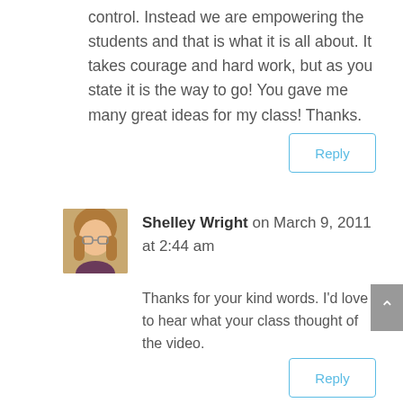control. Instead we are empowering the students and that is what it is all about. It takes courage and hard work, but as you state it is the way to go! You gave me many great ideas for my class! Thanks.
Reply
Shelley Wright on March 9, 2011 at 2:44 am
Thanks for your kind words. I'd love to hear what your class thought of the video.
Reply